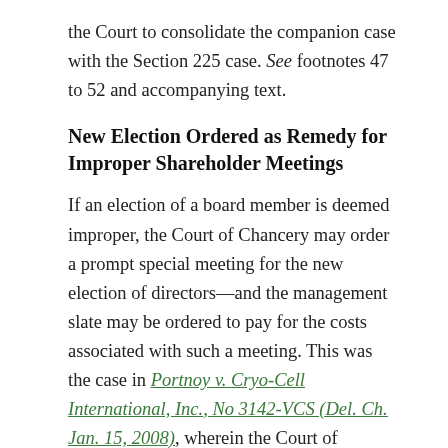the Court to consolidate the companion case with the Section 225 case. See footnotes 47 to 52 and accompanying text.
New Election Ordered as Remedy for Improper Shareholder Meetings
If an election of a board member is deemed improper, the Court of Chancery may order a prompt special meeting for the new election of directors—and the management slate may be ordered to pay for the costs associated with such a meeting. This was the case in Portnoy v. Cryo-Cell International, Inc., No 3142-VCS (Del. Ch. Jan. 15, 2008), wherein the Court of Chancery addressed a challenge to the election of directors under Section 225, based upon claims that the management engaged in inequitable behavior to